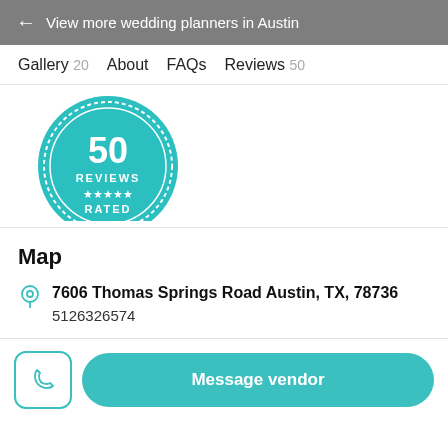← View more wedding planners in Austin
Gallery 20   About   FAQs   Reviews 50
[Figure (other): Teal circular badge showing '50 REVIEWS ★★★★★ RATED']
Map
7606 Thomas Springs Road Austin, TX, 78736
5126326574
Message vendor